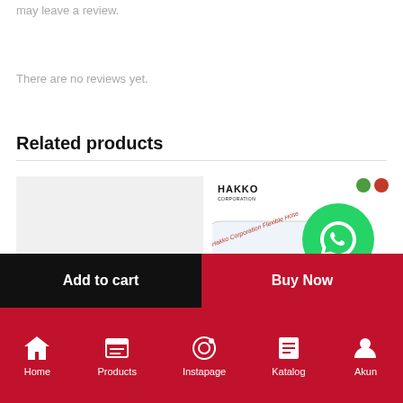may leave a review.
There are no reviews yet.
Related products
[Figure (photo): Light gray placeholder product image on left side]
[Figure (photo): Hakko Corporation product image showing a transparent hose/tube with red text, with green and red dot badges, and WhatsApp button overlay]
Add to cart
Buy Now
Home  Products  Instapage  Katalog  Akun